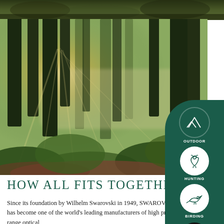[Figure (photo): Top strip: rocky ground with moss and grass, partial view from above]
[Figure (photo): Forest scene with tall trees, sunbeams breaking through morning mist, lush green undergrowth, moody atmospheric lighting]
[Figure (infographic): Dark green rounded sidebar panel with three category icons and labels: OUTDOOR (mountain icon), HUNTING (deer icon), BIRDING (bird icon), and a close/X button at bottom]
HOW ALL FITS TOGETHER
Since its foundation by Wilhelm Swarovski in 1949, SWAROVSKI OPTIK has become one of the world's leading manufacturers of high precision long-range optical